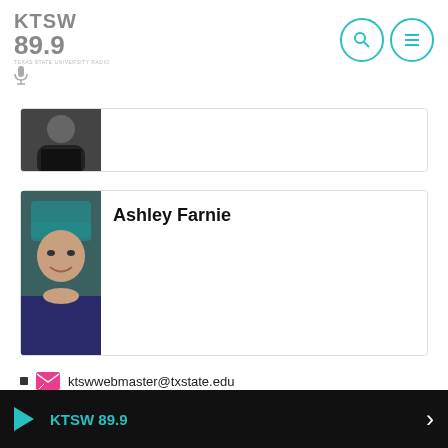KTSW 89.9
[Figure (photo): Partially visible person photo card at top]
[Figure (photo): Ashley Farnie profile photo - woman with teal/green hair]
Ashley Farnie
ktswwebmaster@txstate.edu
ktsw_899
KTSW 89.9